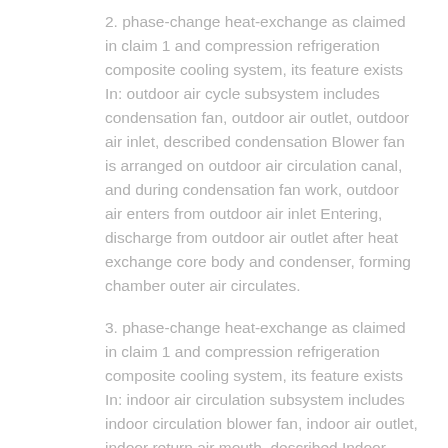2. phase-change heat-exchange as claimed in claim 1 and compression refrigeration composite cooling system, its feature exists In: outdoor air cycle subsystem includes condensation fan, outdoor air outlet, outdoor air inlet, described condensation Blower fan is arranged on outdoor air circulation canal, and during condensation fan work, outdoor air enters from outdoor air inlet Entering, discharge from outdoor air outlet after heat exchange core body and condenser, forming chamber outer air circulates.
3. phase-change heat-exchange as claimed in claim 1 and compression refrigeration composite cooling system, its feature exists In: indoor air circulation subsystem includes indoor circulation blower fan, indoor air outlet, indoor return air mouth, described Indoor circulation blower fan is arranged on indoor air circulation passage, indoor circulation blower fan work time, room air from Indoor return air mouth enters, and outwards sends, in forming chamber from indoor air outlet after heat exchange core body and vaporizer Air circulates.
4. phase-change heat-exchange as claimed in claim 1 and compression refrigeration composite cooling system, its